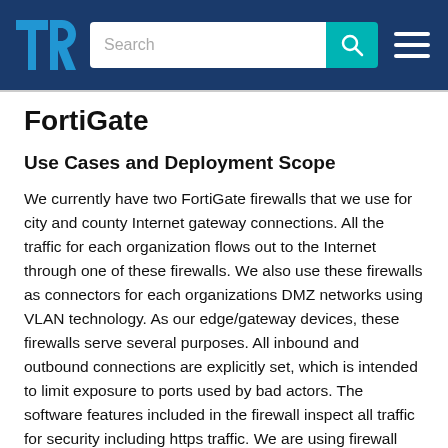TrustRadius | Search | Navigation
FortiGate
Use Cases and Deployment Scope
We currently have two FortiGate firewalls that we use for city and county Internet gateway connections. All the traffic for each organization flows out to the Internet through one of these firewalls. We also use these firewalls as connectors for each organizations DMZ networks using VLAN technology. As our edge/gateway devices, these firewalls serve several purposes. All inbound and outbound connections are explicitly set, which is intended to limit exposure to ports used by bad actors. The software features included in the firewall inspect all traffic for security including https traffic. We are using firewall software to provide web filtering in an effort to increase productivity and